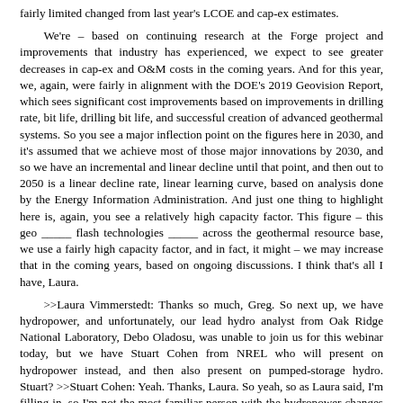fairly limited changed from last year's LCOE and cap-ex estimates.
We're – based on continuing research at the Forge project and improvements that industry has experienced, we expect to see greater decreases in cap-ex and O&M costs in the coming years. And for this year, we, again, were fairly in alignment with the DOE's 2019 Geovision Report, which sees significant cost improvements based on improvements in drilling rate, bit life, drilling bit life, and successful creation of advanced geothermal systems. So you see a major inflection point on the figures here in 2030, and it's assumed that we achieve most of those major innovations by 2030, and so we have an incremental and linear decline until that point, and then out to 2050 is a linear decline rate, linear learning curve, based on analysis done by the Energy Information Administration. And just one thing to highlight here is, again, you see a relatively high capacity factor. This figure – this geo _____ flash technologies _____ across the geothermal resource base, we use a fairly high capacity factor, and in fact, it might – we may increase that in the coming years, based on ongoing discussions. I think that's all I have, Laura.
>>Laura Vimmerstedt: Thanks so much, Greg. So next up, we have hydropower, and unfortunately, our lead hydro analyst from Oak Ridge National Laboratory, Debo Oladosu, was unable to join us for this webinar today, but we have Stuart Cohen from NREL who will present on hydropower instead, and then also present on pumped-storage hydro. Stuart? >>Stuart Cohen: Yeah. Thanks, Laura. So yeah, so as Laura said, I'm filling in, so I'm not the most familiar person with the hydropower changes that have been made for the ATB 2021.
But I would point that really, the main difference in 2021 is that there's some new – there's a new cost model that was developed at Oak Ridge for the non-power dam resource, and so particularly if you go onto the website, you can see